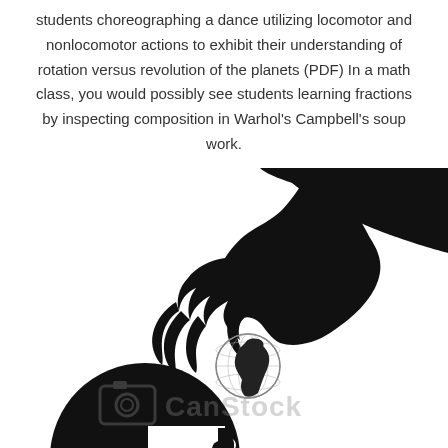students choreographing a dance utilizing locomotor and nonlocomotor actions to exhibit their understanding of rotation versus revolution of the planets (PDF) In a math class, you would possibly see students learning fractions by inspecting composition in Warhol's Campbell's soup work.
[Figure (illustration): Black silhouette illustration of a large hand holding a small globe (showing Africa and Europe) above a silhouetted human head profile with a puzzle piece opening in the skull. A CanStock watermark is overlaid on the lower portion.]